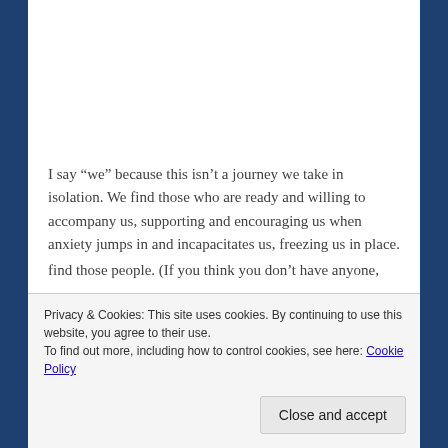I say “we” because this isn’t a journey we take in isolation. We find those who are ready and willing to accompany us, supporting and encouraging us when anxiety jumps in and incapacitates us, freezing us in place.
So I’m ending this post by saying thank you to my travel buddies, to the people who stick by me even when I’m hard
Privacy & Cookies: This site uses cookies. By continuing to use this website, you agree to their use.
To find out more, including how to control cookies, see here: Cookie Policy
find those people. (If you think you don’t have anyone,